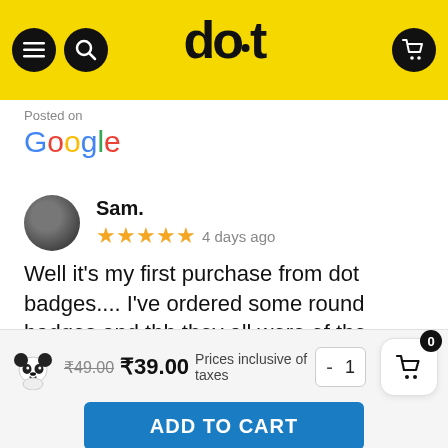dot badges — header with menu, search, logo, cart
Posted on
[Figure (logo): Google logo in multicolor text]
Sam.
★★★★★ 4 days ago
Well it's my first purchase from dot badges.... I've ordered some round badges and tbh they all were of the
Read more
Posted on
[Figure (logo): Google logo partially visible]
₹49.00  ₹39.00  Prices inclusive of taxes  -  1
ADD TO CART